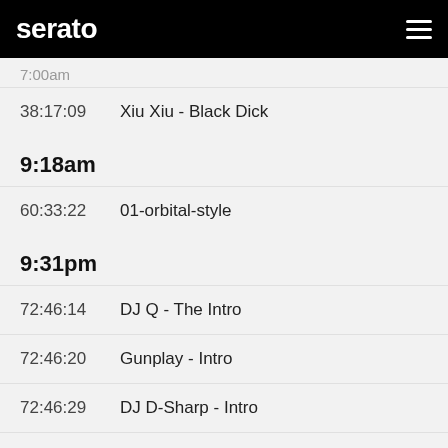serato
7:00am (partial)
38:17:09   Xiu Xiu - Black Dick
9:18am
60:33:22   01-orbital-style
9:31pm
72:46:14   DJ Q - The Intro
72:46:20   Gunplay - Intro
72:46:29   DJ D-Sharp - Intro
72:47:37   Gunplay - Intro
11:55am